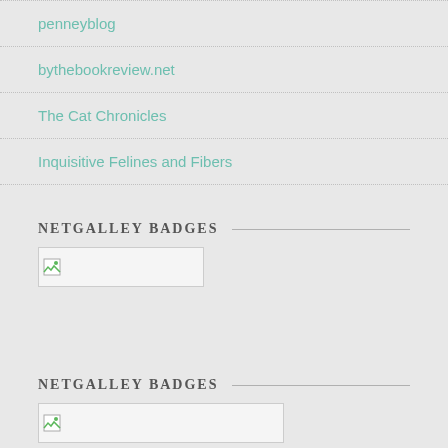penneyblog
bythebookreview.net
The Cat Chronicles
Inquisitive Felines and Fibers
NETGALLEY BADGES
[Figure (other): Broken image placeholder for a NetGalley badge (small)]
NETGALLEY BADGES
[Figure (other): Broken image placeholder for a NetGalley badge (large)]